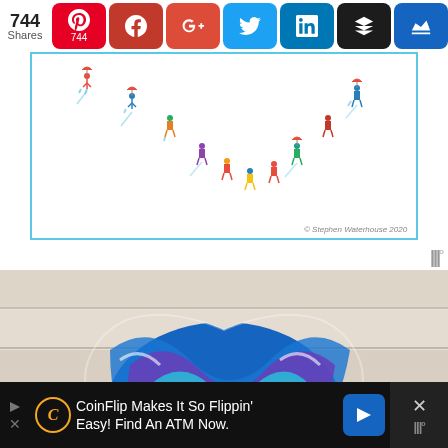[Figure (screenshot): Social sharing bar with 744 shares count and icons for Pinterest (744), Facebook, Google+, Twitter, LinkedIn, Buffer, and crown/King buttons]
[Figure (illustration): Illustration of colorful small figures of people walking, some with umbrellas, arranged in a curved arc against a white background. Copyright Stephen Waterhouse 2020.]
[Figure (photo): Close-up photo of a heart-shaped resin art piece with swirling blue, purple, and teal colors on a white wood background]
[Figure (screenshot): Advertisement bar: CoinFlip Makes It So Flippin' Easy! Find An ATM Now. with CoinFlip logo and blue arrow button, and a close X button on the right]